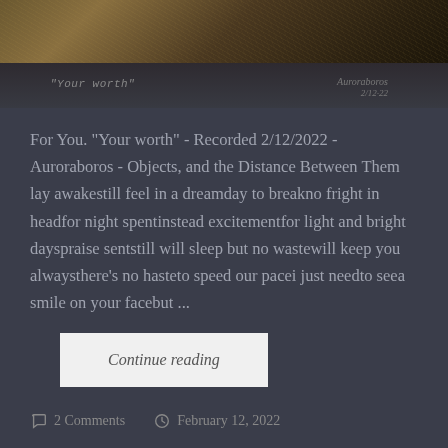[Figure (photo): Partial view of a dark artwork or photograph showing texture at top, with handwritten caption 'Your worth' at bottom left and a signature with date '2/12/22' at bottom right]
For You. "Your worth" - Recorded 2/12/2022 - Auroraboros - Objects, and the Distance Between Them lay awakestill feel in a dreamday to breakno fright in headfor night spentinstead excitementfor light and bright dayspraise sentstill will sleep but no wastewill keep you alwaysthere's no hasteto speed our pacei just needto seea smile on your facebut ...
Continue reading
2 Comments   February 12, 2022